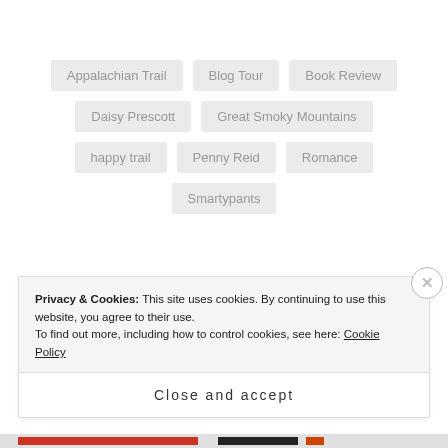Appalachian Trail
Blog Tour
Book Review
Daisy Prescott
Great Smoky Mountains
happy trail
Penny Reid
Romance
Smartypants
Privacy & Cookies: This site uses cookies. By continuing to use this website, you agree to their use. To find out more, including how to control cookies, see here: Cookie Policy
Close and accept